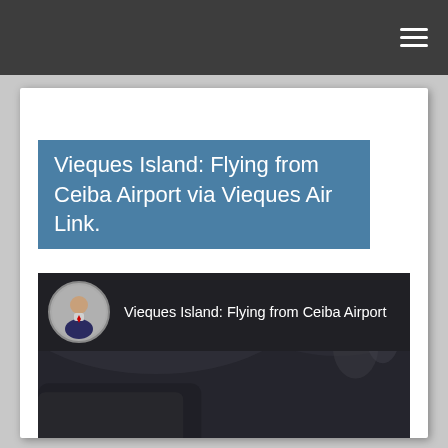Navigation bar with hamburger menu
Vieques Island: Flying from Ceiba Airport via Vieques Air Link.
[Figure (screenshot): YouTube video thumbnail showing 'Vieques Island: Flying from Ceiba Airport' with a circular avatar of a man in a suit, displayed over a dark aircraft interior background with a red YouTube play button in the center.]